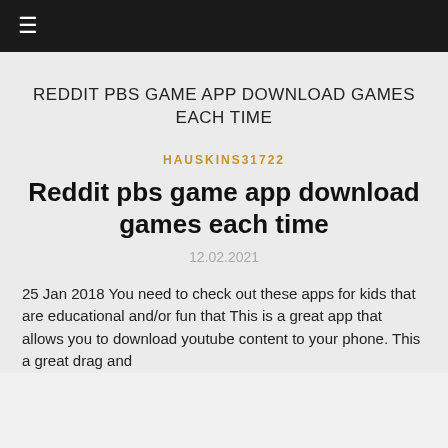≡
REDDIT PBS GAME APP DOWNLOAD GAMES EACH TIME
HAUSKINS31722
Reddit pbs game app download games each time
12.02.2021
25 Jan 2018 You need to check out these apps for kids that are educational and/or fun that This is a great app that allows you to download youtube content to your phone. This a great drag and